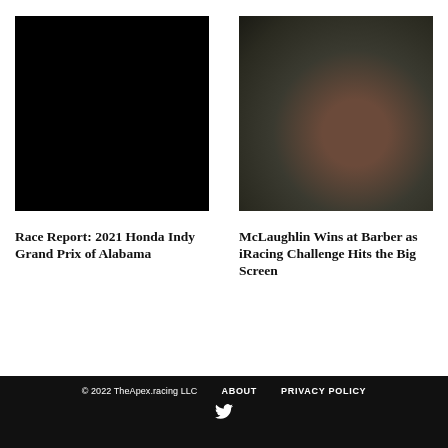[Figure (photo): Black/dark image for Race Report: 2021 Honda Indy Grand Prix of Alabama article thumbnail]
Race Report: 2021 Honda Indy Grand Prix of Alabama
[Figure (photo): Dark blurry photo of racing car for McLaughlin Wins at Barber as iRacing Challenge Hits the Big Screen article thumbnail]
McLaughlin Wins at Barber as iRacing Challenge Hits the Big Screen
© 2022 TheApex.racing LLC   ABOUT   PRIVACY POLICY